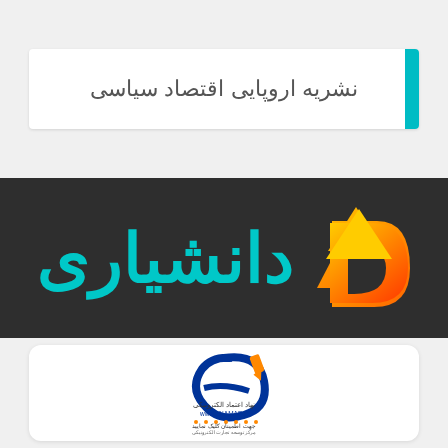نشریه اروپایی اقتصاد سیاسی
[Figure (logo): Daneshyari logo with orange geometric D icon and teal Persian text دانشیاری on dark background]
[Figure (logo): eNAMAD electronic trust seal logo with Persian text: نهاد اعتماد الکترونیکی www.eNAMAD.ir جهت اطمینان کلیک نمایید مرکز توسعه تجارت الکترونیکی وزارت صنعت معدن و تجارت]